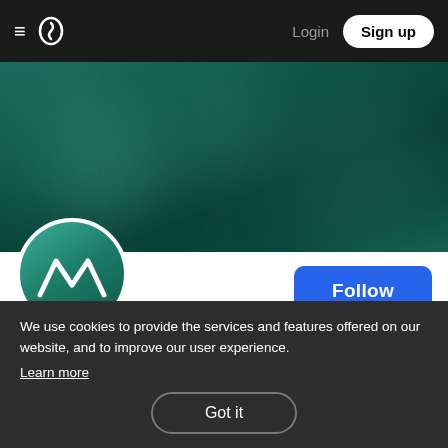≡ [logo] Login Sign up
[Figure (photo): Dark teal blurred banner background image]
[Figure (logo): Circular profile avatar with teal background and white M/mountain wave logo for dahlialight5]
Follow
dahlialight5
<p> The latest update to the Apple Television version
We use cookies to provide the services and features offered on our website, and to improve our user experience.
Learn more
Got it